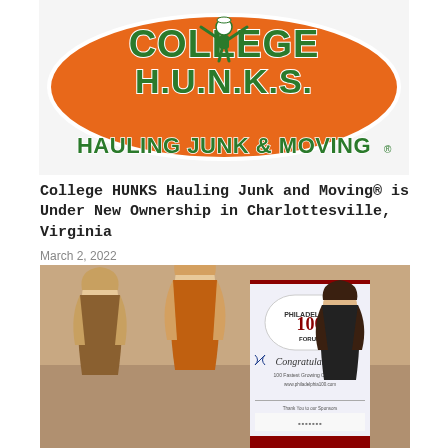[Figure (logo): College HUNKS Hauling Junk & Moving logo — orange oval with green outlined text and cartoon figure]
College HUNKS Hauling Junk and Moving® is Under New Ownership in Charlottesville, Virginia
March 2, 2022
[Figure (photo): Three women standing together next to a Philadelphia 100 Forum Congratulations banner for fastest growing companies]